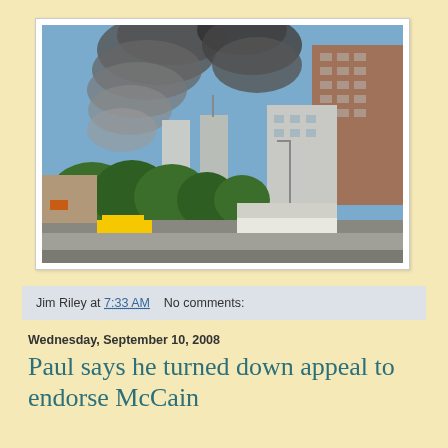[Figure (photo): Photograph of the World Trade Center towers with large plumes of dark smoke rising from them on September 11, 2001. Street-level view showing city buildings, trees, a white truck, and yellow taxi cabs in the foreground. Clear blue sky in the background.]
Jim Riley at 7:33 AM    No comments:
Wednesday, September 10, 2008
Paul says he turned down appeal to endorse McCain